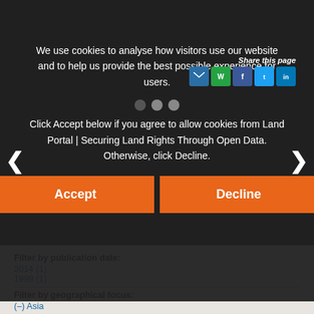We use cookies to analyse how visitors use our website and to help us provide the best possible experience for users.

Click Accept below if you agree to allow cookies from Land Portal | Securing Land Rights Through Open Data. Otherwise, click Decline.
Share this page
Accept
Decline
Filter by resource language:
English (2)
Filter by publication date:
2014 (1)
1999 (1)
Filter by geographical focus:
(–) Asia